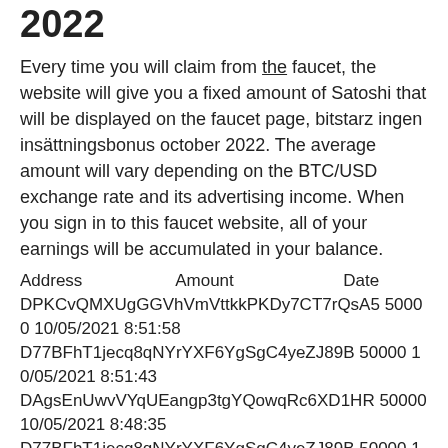2022
Every time you will claim from the faucet, the website will give you a fixed amount of Satoshi that will be displayed on the faucet page, bitstarz ingen insättningsbonus october 2022. The average amount will vary depending on the BTC/USD exchange rate and its advertising income. When you sign in to this faucet website, all of your earnings will be accumulated in your balance.
| Address | Amount | Date |
| --- | --- | --- |
| DPKCvQMXUgGGVhVmVttkkPKDy7CT7rQsA5 | 50000 | 10/05/2021 8:51:58 |
| D77BFhT1jecq8qNYrYXF6YgSgC4yeZJ89B | 50000 | 10/05/2021 8:51:43 |
| DAgsEnUwvVYqUEangp3tgYQowqRc6XD1HR | 50000 | 10/05/2021 8:48:35 |
| D77BFhT1jecq8qNYrYXF6YgSgC4yeZJ89B | 50000 | 10/05/2021 8:46:20 |
| DT71xe15t8UtQK25o5uL981P5BWDtuQ4zj | 50000 | 10/05/2021 8:45:54, bitstarz ingen insättningsbonus october 2022 |